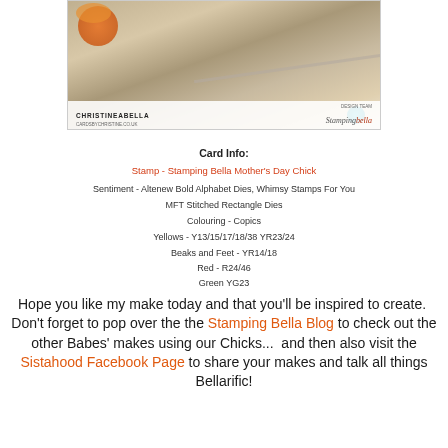[Figure (photo): Craft card photo showing a chick stamp on a wooden background with stitched rectangle die and embellishments, with ChristineAbella watermark and Stamping Bella logo]
Card Info:
Stamp - Stamping Bella Mother's Day Chick
Sentiment - Altenew Bold Alphabet Dies, Whimsy Stamps For You
MFT Stitched Rectangle Dies
Colouring - Copics
Yellows - Y13/15/17/18/38 YR23/24
Beaks and Feet - YR14/18
Red - R24/46
Green YG23
Hope you like my make today and that you'll be inspired to create.  Don't forget to pop over the the Stamping Bella Blog to check out the other Babes' makes using our Chicks...  and then also visit the Sistahood Facebook Page to share your makes and talk all things Bellarific!